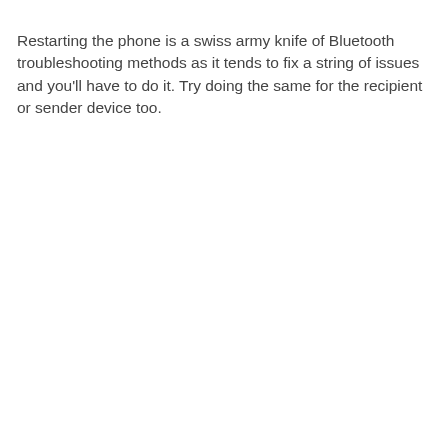Restarting the phone is a swiss army knife of Bluetooth troubleshooting methods as it tends to fix a string of issues and you'll have to do it. Try doing the same for the recipient or sender device too.